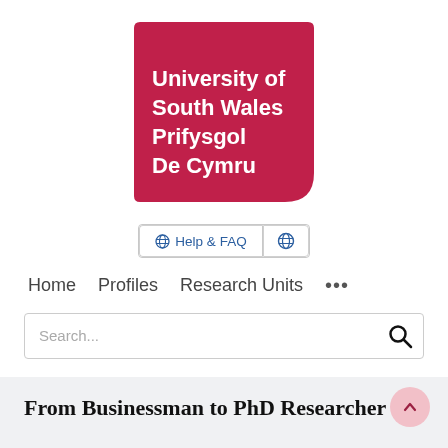[Figure (logo): University of South Wales / Prifysgol De Cymru logo — crimson/dark-red rounded square with white bold text]
[Figure (screenshot): Navigation bar with Help & FAQ button (globe icon) and a globe icon button, followed by main nav links: Home, Profiles, Research Units, and ellipsis (...)]
[Figure (screenshot): Search input box with placeholder text 'Search...' and a magnifier icon on the right]
From Businessman to PhD Researcher